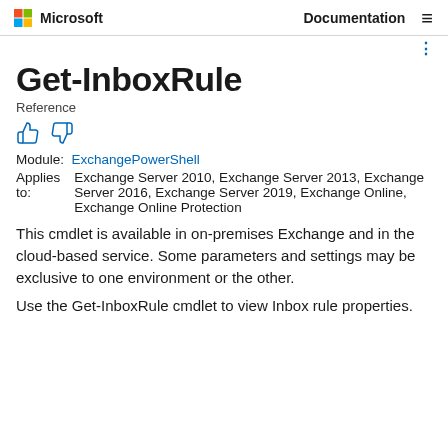Microsoft | Documentation
Get-InboxRule
Reference
[Figure (infographic): Thumbs up and thumbs down feedback icons]
Module: ExchangePowerShell
Applies to: Exchange Server 2010, Exchange Server 2013, Exchange Server 2016, Exchange Server 2019, Exchange Online, Exchange Online Protection
This cmdlet is available in on-premises Exchange and in the cloud-based service. Some parameters and settings may be exclusive to one environment or the other.
Use the Get-InboxRule cmdlet to view Inbox rule properties.